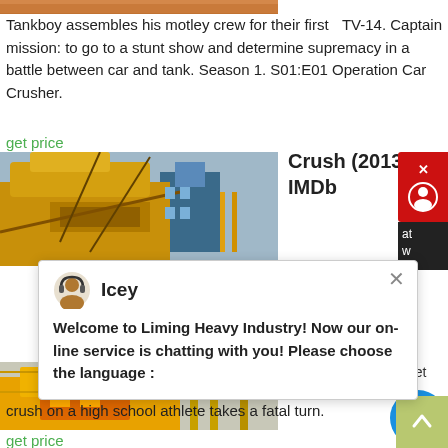[Figure (photo): Cropped orange/construction machinery image at top]
TV-14. Captain Tankboy assembles his motley crew for their first mission: to go to a stunt show and determine supremacy in a battle between car and tank. Season 1. S01:E01 Operation Car Crusher.
get price
Crush (2013) IMDb
[Figure (photo): Yellow/orange construction machinery image (Crush 2013)]
[Figure (screenshot): Live chat popup from Liming Heavy Industry with avatar 'Icey' and message: Welcome to Liming Heavy Industry! Now our on-line service is chatting with you! Please choose the language :]
Crystal Reed. A secret admirer's crush on a high school athlete takes a fatal turn.
get price
Crusher Joe: The Movie (1983) IMDb
[Figure (photo): Yellow industrial/construction machinery image at bottom]